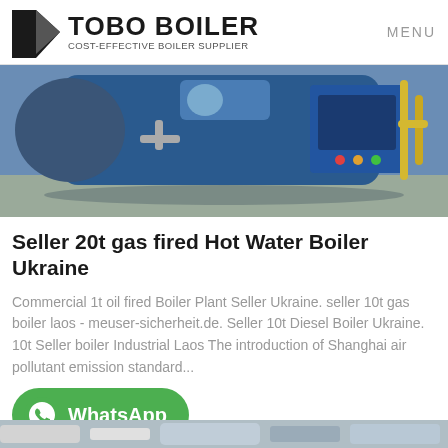TOBO BOILER — COST-EFFECTIVE BOILER SUPPLIER — MENU
[Figure (photo): Industrial gas fired hot water boiler with blue body, motor, control panel, and yellow gas pipes in a warehouse setting.]
Seller 20t gas fired Hot Water Boiler Ukraine
Commercial 1t oil fired Boiler Plant Seller Ukraine. seller 10t gas boiler laos - meuser-sicherheit.de. Seller 10t Diesel Boiler Ukraine. 10t Seller boiler Industrial Laos The introduction of Shanghai air pollutant emission standard...
[Figure (logo): WhatsApp contact button with green rounded rectangle background, WhatsApp phone icon on left, and 'WhatsApp' text in white bold letters.]
[Figure (photo): Partial view of industrial boiler equipment at bottom of page.]